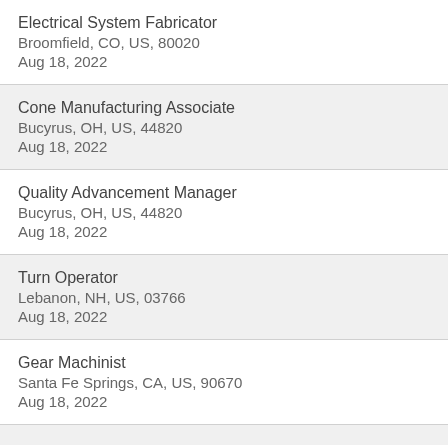Electrical System Fabricator
Broomfield, CO, US, 80020
Aug 18, 2022
Cone Manufacturing Associate
Bucyrus, OH, US, 44820
Aug 18, 2022
Quality Advancement Manager
Bucyrus, OH, US, 44820
Aug 18, 2022
Turn Operator
Lebanon, NH, US, 03766
Aug 18, 2022
Gear Machinist
Santa Fe Springs, CA, US, 90670
Aug 18, 2022